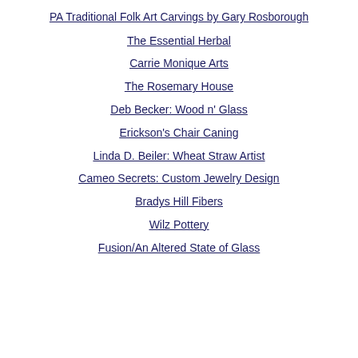PA Traditional Folk Art Carvings by Gary Rosborough
The Essential Herbal
Carrie Monique Arts
The Rosemary House
Deb Becker: Wood n' Glass
Erickson's Chair Caning
Linda D. Beiler: Wheat Straw Artist
Cameo Secrets: Custom Jewelry Design
Bradys Hill Fibers
Wilz Pottery
Fusion/An Altered State of Glass